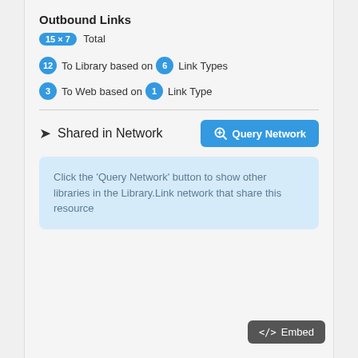Outbound Links
15 × 7 Total
12 To Library based on 6 Link Types
3 To Web based on 1 Link Type
Shared in Network
Click the 'Query Network' button to show other libraries in the Library.Link network that share this resource
</> Embed